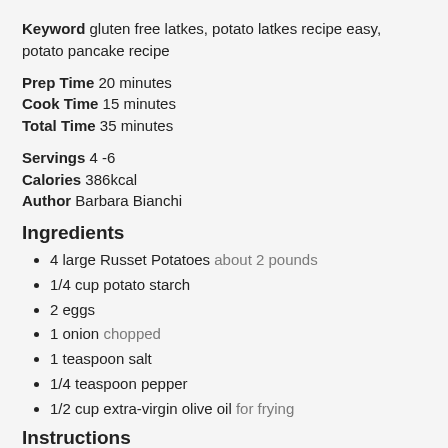Keyword gluten free latkes, potato latkes recipe easy, potato pancake recipe
Prep Time 20 minutes
Cook Time 15 minutes
Total Time 35 minutes
Servings 4 -6
Calories 386kcal
Author Barbara Bianchi
Ingredients
4 large Russet Potatoes about 2 pounds
1/4 cup potato starch
2 eggs
1 onion chopped
1 teaspoon salt
1/4 teaspoon pepper
1/2 cup extra-virgin olive oil for frying
Instructions
Preheat oven to 250°F